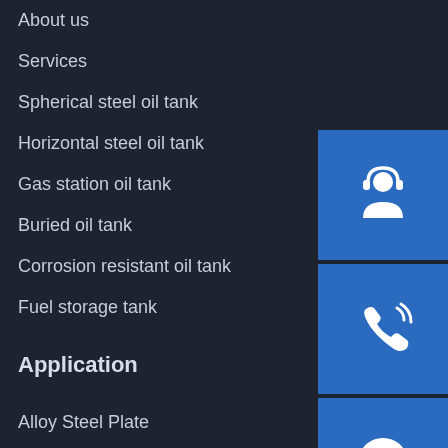About us
Services
Spherical steel oil tank
Horizontal steel oil tank
Gas station oil tank
Buried oil tank
Corrosion resistant oil tank
Fuel storage tank
[Figure (illustration): Customer support icon (headset with person silhouette) on blue background]
[Figure (illustration): Phone call icon with signal waves on blue background]
[Figure (illustration): Skype logo icon on blue background]
Application
Alloy Steel Plate
Automobile Structure Steel Plate
Railway Passenger car steel plate